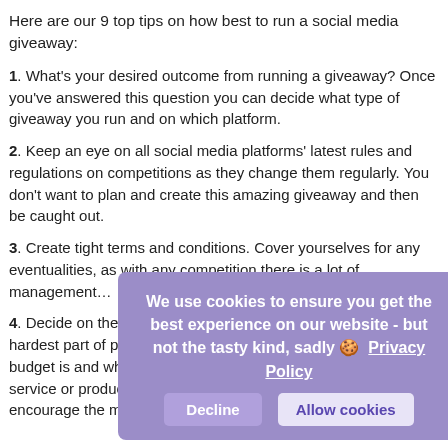Here are our 9 top tips on how best to run a social media giveaway:
1. What's your desired outcome from running a giveaway? Once you've answered this question you can decide what type of giveaway you run and on which platform.
2. Keep an eye on all social media platforms' latest rules and regulations on competitions as they change them regularly. You don't want to plan and create this amazing giveaway and then be caught out.
3. Create tight terms and conditions. Cover yourselves for any eventualities, as with any competition there is a lot of management…
4. Decide on the prize. Picking the prize can often be the hardest part of planning a giveaway. Determine what your budget is and whether the prize will be related to your specific service or product. Prizes with high monetary value tend to encourage the most entries.
[Figure (other): Cookie consent banner overlay with text 'We use cookies to ensure you get the best experience on our website - but not the tasty kind, sadly 🍪 Privacy Policy' and two buttons: Decline and Allow cookies]